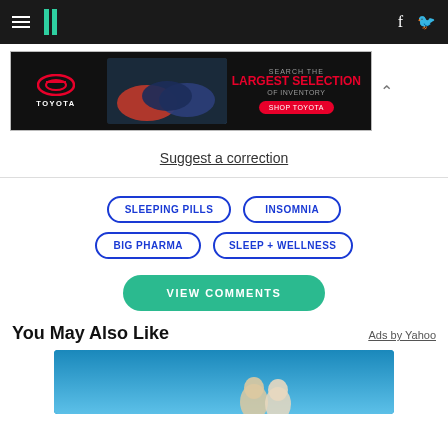HuffPost navigation bar with logo, hamburger menu, Facebook and Twitter icons
[Figure (other): Toyota advertisement banner: Search the Largest Selection of Inventory. Shop Toyota.]
Suggest a correction
SLEEPING PILLS
INSOMNIA
BIG PHARMA
SLEEP + WELLNESS
VIEW COMMENTS
You May Also Like
Ads by Yahoo
[Figure (photo): Partial image of an older couple outdoors against a blue sky background]